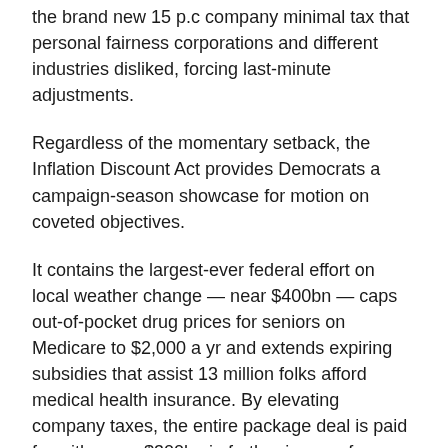the brand new 15 p.c company minimal tax that personal fairness corporations and different industries disliked, forcing last-minute adjustments.
Regardless of the momentary setback, the Inflation Discount Act provides Democrats a campaign-season showcase for motion on coveted objectives.
It contains the largest-ever federal effort on local weather change — near $400bn — caps out-of-pocket drug prices for seniors on Medicare to $2,000 a yr and extends expiring subsidies that assist 13 million folks afford medical health insurance. By elevating company taxes, the entire package deal is paid for with some $300bn in further income for deficit discount.
Barely greater than one-tenth the dimensions of Biden's preliminary 10-year, $3.5 trillion rainbow of progressive aspirations in his Construct Again Higher initiative, the brand new package deal abandons earlier proposals for common preschool, paid household go away, and